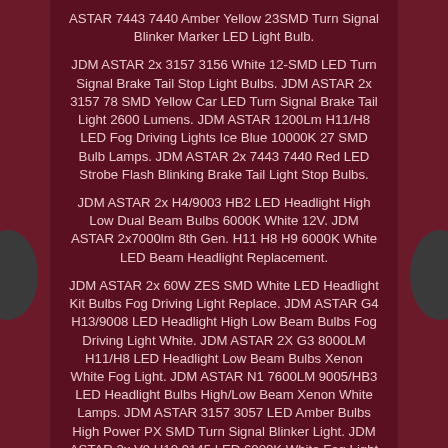ASTAR 7443 7440 Amber Yellow 23SMD Turn Signal Blinker Marker LED Light Bulb.
JDM ASTAR 2x 3157 3156 White 12-SMD LED Turn Signal Brake Tail Stop Light Bulbs. JDM ASTAR 2x 3157 78 SMD Yellow Car LED Turn Signal Brake Tail Light 2600 Lumens. JDM ASTAR 1200Lm H11/H8 LED Fog Driving Lights Ice Blue 10000K 27 SMD Bulb Lamps. JDM ASTAR 2x 7443 7440 Red LED Strobe Flash Blinking Brake Tail Light Stop Bulbs.
JDM ASTAR 2x H4/9003 HB2 LED Headlight High Low Dual Beam Bulbs 6000K White 12V. JDM ASTAR 2x7000lm 8th Gen. H11 H8 H9 6000K White LED Beam Headlight Replacement.
JDM ASTAR 2x 60W ZES SMD White LED Headlight Kit Bulbs Fog Driving Light Replace. JDM ASTAR G4 H13/9008 LED Headlight High Low Beam Bulbs Fog Driving Light White. JDM ASTAR 2X G3 8000LM H11/H8 LED Headlight Low Beam Bulbs Xenon White Fog Light. JDM ASTAR N1 7600LM 9005/HB3 LED Headlight Bulbs High/Low Beam Xenon White Lamps. JDM ASTAR 3157 3057 LED Amber Bulbs High Power PX SMD Turn Signal Blinker Light. JDM ASTAR 2x V9 H10 9145 LED 6000K White Fog Light Driving Bulbs High Power 2020.